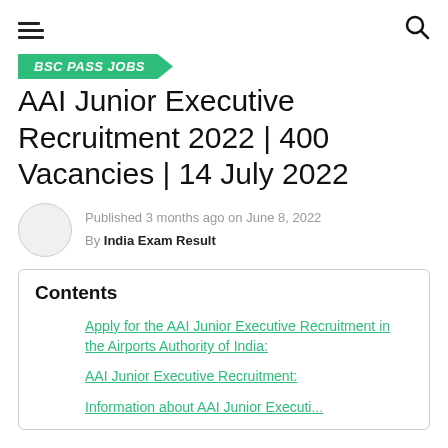BSC PASS JOBS
AAI Junior Executive Recruitment 2022 | 400 Vacancies | 14 July 2022
Published 3 months ago on June 8, 2022
By India Exam Result
Contents
Apply for the AAI Junior Executive Recruitment in the Airports Authority of India:
AAI Junior Executive Recruitment:
Information about AAI Junior Executive...